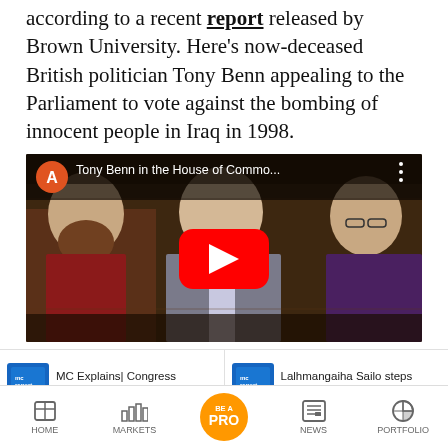according to a recent report released by Brown University. Here's now-deceased British politician Tony Benn appealing to the Parliament to vote against the bombing of innocent people in Iraq in 1998.
[Figure (screenshot): YouTube video embed showing Tony Benn in the House of Commons. Orange avatar with letter A, title 'Tony Benn in the House of Commo...' with three-dot menu. Video shows parliament scene with Tony Benn speaking, YouTube play button in center.]
MC Explains| Congress presidential election
Lalhmangaiha Sailo steps down as
HOME   MARKETS   BE A PRO   NEWS   PORTFOLIO